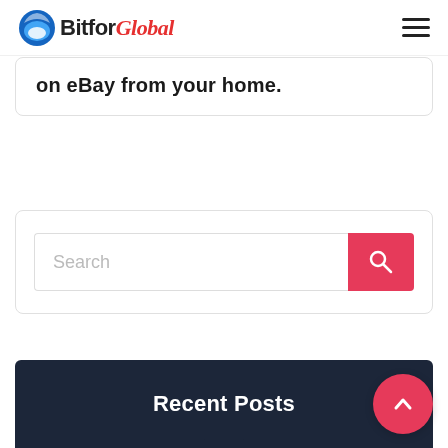BitforGlobal
on eBay from your home.
[Figure (screenshot): Search bar with red search button]
Recent Posts